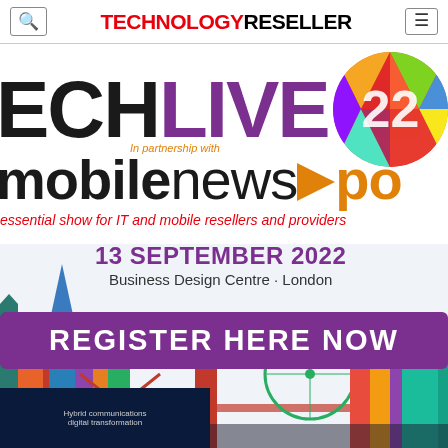TECHNOLOGY RESELLER
[Figure (logo): TechLive22 event logo with multicolored circle containing '22', Mobile News XPO partnership branding, tagline 'essential show for IT and mobile resellers and providers', date 13 September 2022, Business Design Centre London, Register Here Now button, and colorful London skyline illustration]
13 SEPTEMBER 2022
Business Design Centre · London
REGISTER HERE NOW